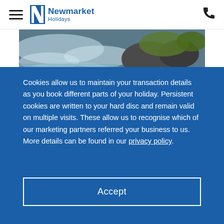[Figure (logo): Newmarket Holidays logo with hamburger menu icon on the left and phone icon on the right]
[Figure (photo): Nature landscape photo showing rushing water over rocks with green moss]
Cookies allow us to maintain your transaction details as you book different parts of your holiday. Persistent cookies are written to your hard disc and remain valid on multiple visits. These allow us to recognise which of our marketing partners referred your business to us. More details can be found in our privacy policy.
Accept